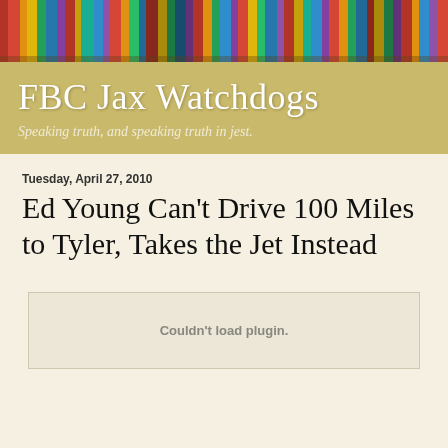[Figure (photo): Colorful bookshelf banner image at the top of the blog page]
FBC Jax Watchdogs
Speaking truth, and speaking truth in jest.
Tuesday, April 27, 2010
Ed Young Can't Drive 100 Miles to Tyler, Takes the Jet Instead
Couldn't load plugin.